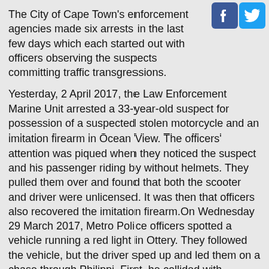The City of Cape Town's enforcement agencies made six arrests in the last few days which each started out with officers observing the suspects committing traffic transgressions.
Yesterday, 2 April 2017, the Law Enforcement Marine Unit arrested a 33-year-old suspect for possession of a suspected stolen motorcycle and an imitation firearm in Ocean View. The officers' attention was piqued when they noticed the suspect and his passenger riding by without helmets. They pulled them over and found that both the scooter and driver were unlicensed. It was then that officers also recovered the imitation firearm.On Wednesday 29 March 2017, Metro Police officers spotted a vehicle running a red light in Ottery. They followed the vehicle, but the driver sped up and led them on a chase through Philippi. First, he collided with another vehicle in Schaapkraal and then hit two more vehicles at the intersection of Govan Mbeki and Sheffield Roads. The four occupants bolted from the stationary vehicle and one of them opened fire on the officers as he tried to get away. The Metro Police officers caught one of the suspects and Nyanga police caught a second. They were arrested for attempted murder and reckless and negligent driving.
On Thursday afternoon, 30 March 2017, two City traffic offi...